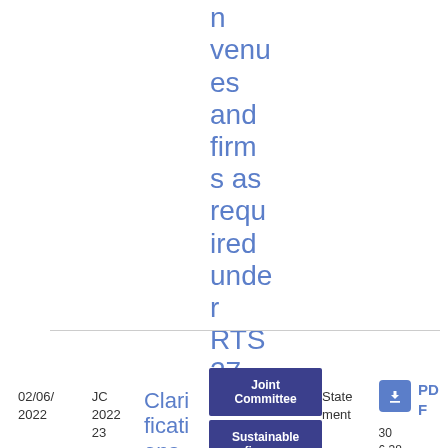ation venues and firms as required under RTS 27 and 28
| Date | Reference | Title | Topic | Type | Download |
| --- | --- | --- | --- | --- | --- |
| 02/06/2022 | JC 2022 23 | Clarifications on the ESAs'… | Joint Committee | Sustainable finance | Statement | PDF 306.38 KB |